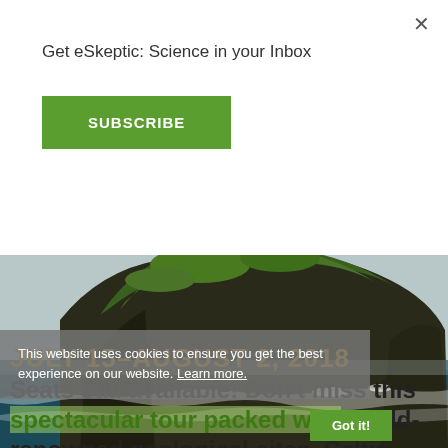Get eSkeptic: Science in your Inbox
SUBSCRIBE
[Figure (photo): Rocky coastal island with green vegetation on top, surrounded by dark blue choppy ocean water, viewed from a boat]
JULY 15–AUGUST 2, 2018
Seats still available! Don't miss this spectacular tour packed with world-renowned geological sites, Celtic history, and the charm of Irish culture
This website uses cookies to ensure you get the best experience on our website. Learn more.
Got it!